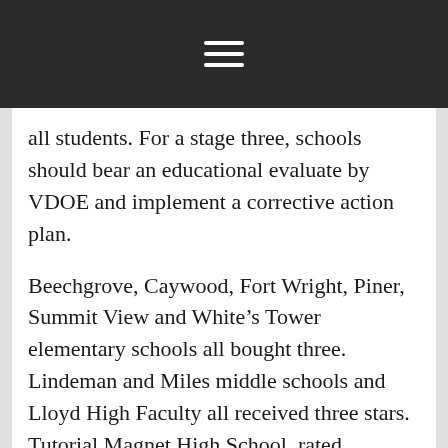≡
all students. For a stage three, schools should bear an educational evaluate by VDOE and implement a corrective action plan.
Beechgrove, Caywood, Fort Wright, Piner, Summit View and White's Tower elementary schools all bought three. Lindeman and Miles middle schools and Lloyd High Faculty all received three stars. Tutorial Magnet High School, rated excellent, received a 97 score, while Mitchell Elementary, which ranked unsatisfactory, obtained an total score of 20.